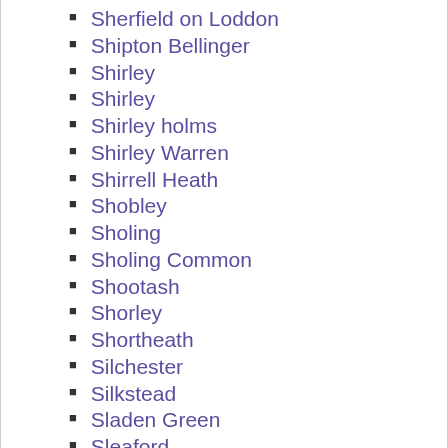Sherfield on Loddon
Shipton Bellinger
Shirley
Shirley
Shirley holms
Shirley Warren
Shirrell Heath
Shobley
Sholing
Sholing Common
Shootash
Shorley
Shortheath
Silchester
Silkstead
Sladen Green
Sleaford
Sleepers Hill
Smannell